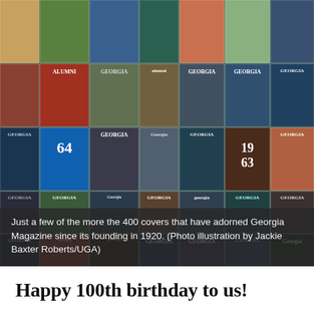[Figure (photo): A collage of more than 400 covers of Georgia Magazine, showing various issues from 1920 to present, including covers with 'ALUMNI', 'GEORGIA', and 'Georgia' mastheads in different eras and designs.]
Just a few of the more the 400 covers that have adorned Georgia Magazine since its founding in 1920. (Photo illustration by Jackie Baxter Roberts/UGA)
Happy 100th birthday to us!